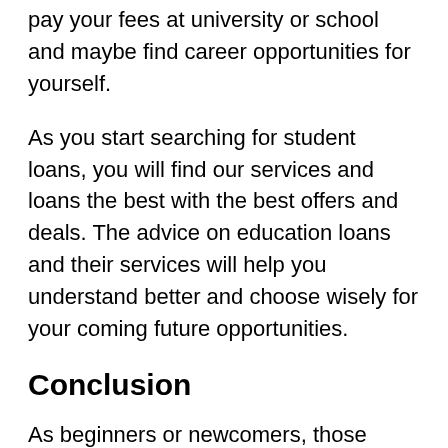pay your fees at university or school and maybe find career opportunities for yourself.
As you start searching for student loans, you will find our services and loans the best with the best offers and deals. The advice on education loans and their services will help you understand better and choose wisely for your coming future opportunities.
Conclusion
As beginners or newcomers, those starting a business can also apply for a mortgage loan with us. Our company, munafa wala, offers business and mortgage loans to clients all over the country. The user should have a good credit score, and then he is eligible to apply for business or mortgage loans. We will also fulfill the needs of education and home loans for our clients and citizens. We